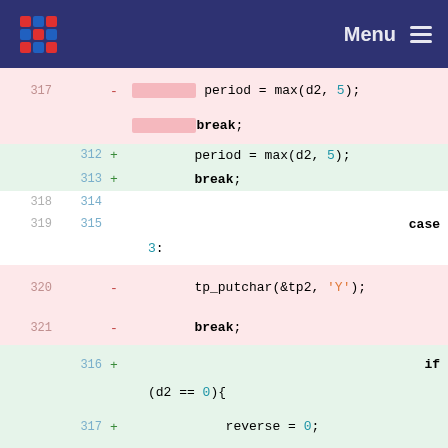Menu
[Figure (screenshot): Code diff view showing removed lines (pink background, line numbers 317, 320, 321) and added lines (green background, line numbers 312, 313, 314, 315, 316, 317, 318). Code shows a switch/case block being refactored. Removed code has 'period = max(d2, 5);' and 'break;' in a case block with tp_putchar(&tp2, 'Y'); while added code replaces with if(d2 == 0){ reverse = 0; dir = 0; structure.]